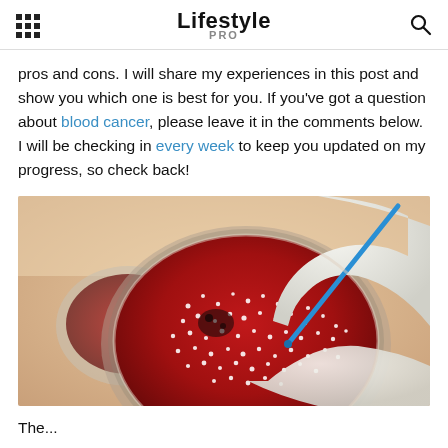Lifestyle PRO
pros and cons. I will share my experiences in this post and show you which one is best for you. If you've got a question about blood cancer, please leave it in the comments below. I will be checking in every week to keep you updated on my progress, so check back!
[Figure (photo): A gloved hand using a blue inoculation loop to work on a blood agar petri dish containing bacterial colonies (white specks on red medium), with additional petri dishes visible in the blurred background.]
The...